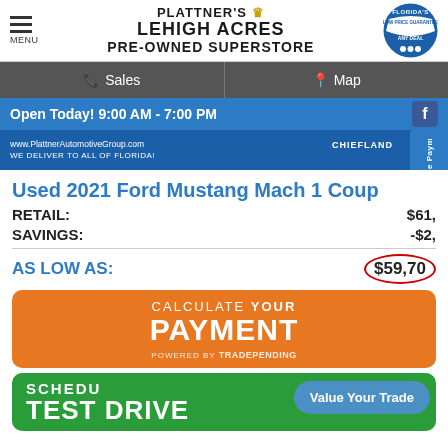MENU | PLATTNER'S LEHIGH ACRES PRE-OWNED SUPERSTORE | FLORIDA'S LOW PRICE GUARANTEE - We will BEAT ANY DEAL
Sales | Map
Open Today! 9:00 AM - 7:00 PM
[Figure (screenshot): Dealer banner with www.PlattnerAutomotiveGroup.com - WE DELIVER TO ALL OF FLORIDA! with CHIEFLAND badge]
Used 2021 Ford Mustang Mach 1 Coup
RETAIL: $61,
SAVINGS: -$2,
AS LOW AS: $59,70
[Figure (infographic): Calculate Your Payment button - orange banner with CALCULATE YOUR PAYMENT POWERED BY TRADEPENDING]
[Figure (infographic): Schedule Test Drive button - green banner with Value Your Trade overlay button]